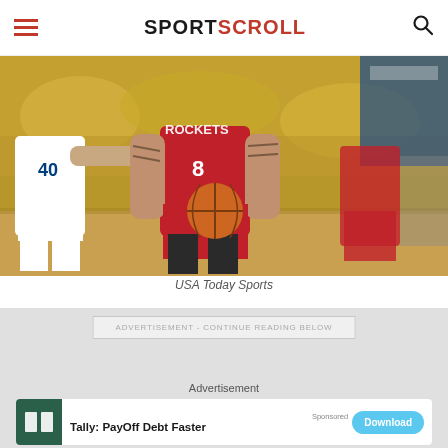SPORTSCROLL
[Figure (photo): NBA basketball game action shot: Houston Rockets player wearing number 8 in red uniform holding basketball, defended by Golden State Warriors player in white uniform number 40. Indoor arena with yellow-clad crowd in background.]
USA Today Sports
ADVERTISEMENT - CONTINUE READING BELOW
Advertisement
Tally: PayOff Debt Faster